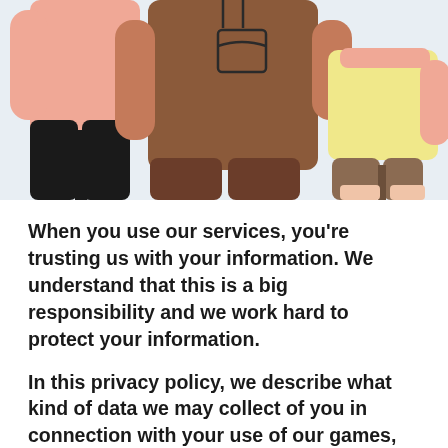[Figure (illustration): Illustration of three people standing together — a person with light skin wearing black pants on the left, a taller person with darker skin wearing a brown t-shirt with a chest pocket in the center, and a shorter person in a light yellow top and brown shorts on the right. Cropped at waist/chest level on a light blue-grey background.]
When you use our services, you're trusting us with your information. We understand that this is a big responsibility and we work hard to protect your information.
In this privacy policy, we describe what kind of data we may collect of you in connection with your use of our games, websites, and related services and how we may use such